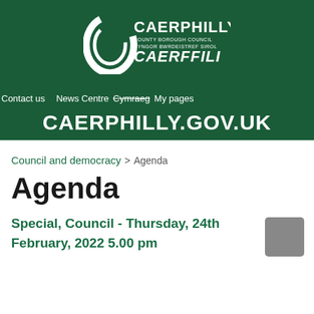[Figure (logo): Caerphilly County Borough Council / Cyngor Bwrdeistref Sirol Caerffili logo — white text and swoosh graphic on dark green background]
Contact us   News Centre   Cymraeg   My pages
CAERPHILLY.GOV.UK
Council and democracy > Agenda
Agenda
Special, Council - Thursday, 24th February, 2022 5.00 pm